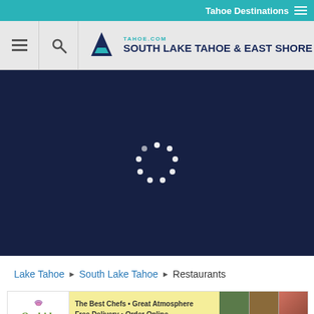Tahoe Destinations
[Figure (screenshot): Tahoe.com South Lake Tahoe & East Shore navigation bar with hamburger menu, search icon, and logo]
[Figure (photo): Dark navy blue hero/loading area with circular spinner animation]
Lake Tahoe ▶ South Lake Tahoe ▶ Restaurants
[Figure (photo): Orchids restaurant advertisement banner: The Best Chefs • Great Atmosphere • Free Delivery • Order Online, 2180 Lake Tahoe Blvd, South Lake Tahoe, CA]